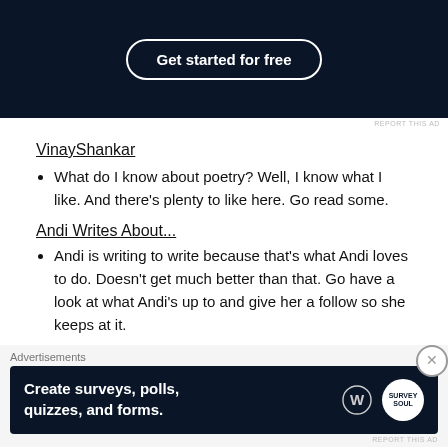[Figure (screenshot): Dark navy advertisement banner with 'Get started for free' button in pill/rounded border style on dark background]
REPORT THIS AD
VinayShankar
What do I know about poetry? Well, I know what I like. And there's plenty to like here. Go read some.
Andi Writes About...
Andi is writing to write because that's what Andi loves to do. Doesn't get much better than that. Go have a look at what Andi's up to and give her a follow so she keeps at it.
Advertisements
[Figure (screenshot): Dark navy advertisement banner: 'Create surveys, polls, quizzes, and forms.' with WordPress logo and Survey Soul badge]